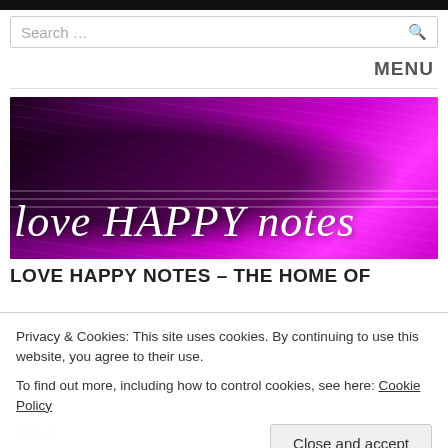Search ...
MENU
[Figure (photo): Purple/magenta guitar banner image with text 'love HAPPY notes' in white italic serif font overlay]
LOVE HAPPY NOTES – THE HOME OF
Privacy & Cookies: This site uses cookies. By continuing to use this website, you agree to their use.
To find out more, including how to control cookies, see here: Cookie Policy
Close and accept
About